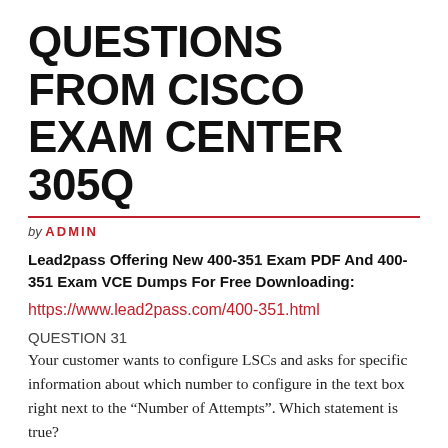QUESTIONS FROM CISCO EXAM CENTER 305Q
by ADMIN
Lead2pass Offering New 400-351 Exam PDF And 400-351 Exam VCE Dumps For Free Downloading:
https://www.lead2pass.com/400-351.html
QUESTION 31
Your customer wants to configure LSCs and asks for specific information about which number to configure in the text box right next to the “Number of Attempts”. Which statement is true?